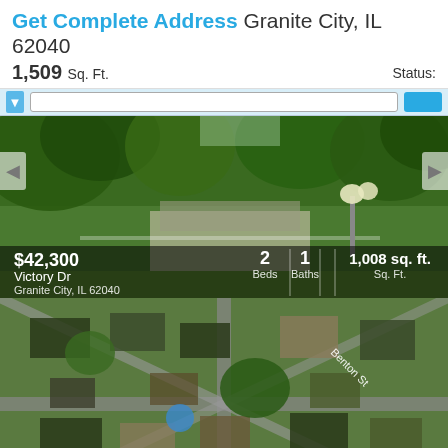Get Complete Address Granite City, IL 62040
1,509 Sq. Ft.   Status:
[Figure (photo): Street-level photo of a house with trees in Granite City IL, with listing overlay showing $42,300, 2 Beds, 1 Baths, 1,008 sq. ft., Victory Dr, Granite City, IL 62040]
[Figure (map): Aerial map view of neighborhood near Benton St, Granite City, IL 62040, with listing overlay showing Beds, Baths, 999 sq. ft., Benton St, Granite City, IL 62040]
Granite City Foreclosures
Granite City Rent To Own